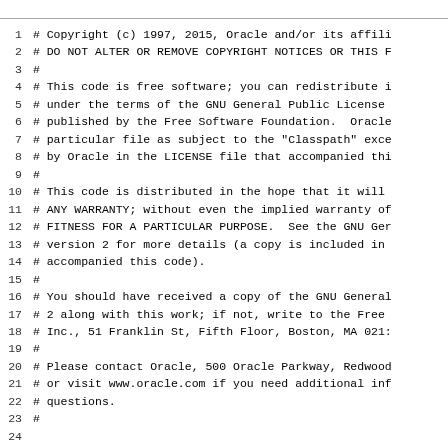1 # Copyright (c) 1997, 2015, Oracle and/or its affili
2 # DO NOT ALTER OR REMOVE COPYRIGHT NOTICES OR THIS F
3 #
4 # This code is free software; you can redistribute i
5 # under the terms of the GNU General Public License
6 # published by the Free Software Foundation.  Oracle
7 # particular file as subject to the "Classpath" exce
8 # by Oracle in the LICENSE file that accompanied thi
9 #
10 # This code is distributed in the hope that it will
11 # ANY WARRANTY; without even the implied warranty of
12 # FITNESS FOR A PARTICULAR PURPOSE.  See the GNU Ger
13 # version 2 for more details (a copy is included in
14 # accompanied this code).
15 #
16 # You should have received a copy of the GNU General
17 # 2 along with this work; if not, write to the Free
18 # Inc., 51 Franklin St, Fifth Floor, Boston, MA 021:
19 #
20 # Please contact Oracle, 500 Oracle Parkway, Redwood
21 # or visit www.oracle.com if you need additional inf
22 # questions.
23 #
24
25 include $(SPEC)
26 include MakeBase.gmk
27
28 .SUFFIXES: # Delete the default suffixes